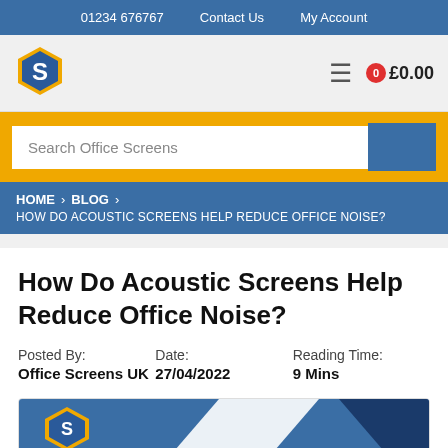01234 676767   Contact Us   My Account
[Figure (logo): Office Screens UK hexagon logo with 'S' letter mark in blue and orange]
£0.00
Search Office Screens
HOME > BLOG > HOW DO ACOUSTIC SCREENS HELP REDUCE OFFICE NOISE?
How Do Acoustic Screens Help Reduce Office Noise?
Posted By: Office Screens UK   Date: 27/04/2022   Reading Time: 9 Mins
[Figure (screenshot): Partial view of a blog header image with blue background and company logo]